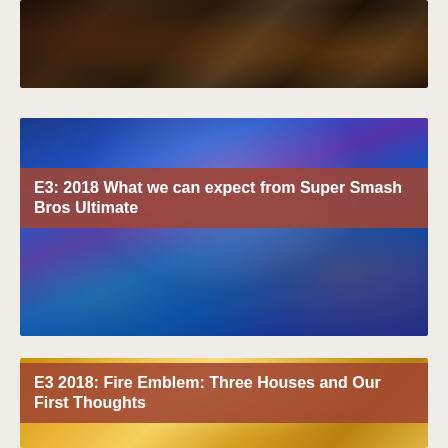[Figure (photo): Dark stone path screenshot from a video game, atmospheric dark environment with cobblestones and torch light]
[Figure (photo): Super Smash Bros Ultimate promotional image showing colorful characters on blue background]
E3: 2018 What we can expect from Super Smash Bros Ultimate
[Figure (photo): Fire Emblem: Three Houses promotional image with golden warm tones]
E3 2018: Fire Emblem: Three Houses and Our First Thoughts